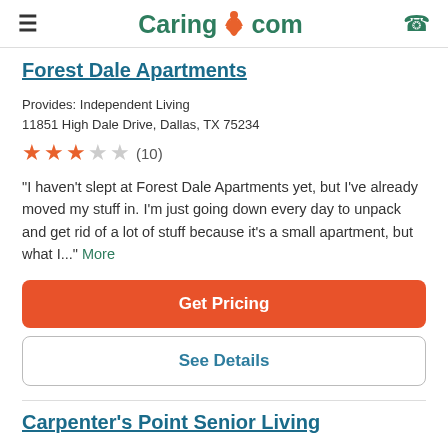Caring.com
Forest Dale Apartments
Provides: Independent Living
11851 High Dale Drive, Dallas, TX 75234
★★★☆☆ (10)
"I haven't slept at Forest Dale Apartments yet, but I've already moved my stuff in. I'm just going down every day to unpack and get rid of a lot of stuff because it's a small apartment, but what I..." More
Get Pricing
See Details
Carpenter's Point Senior Living